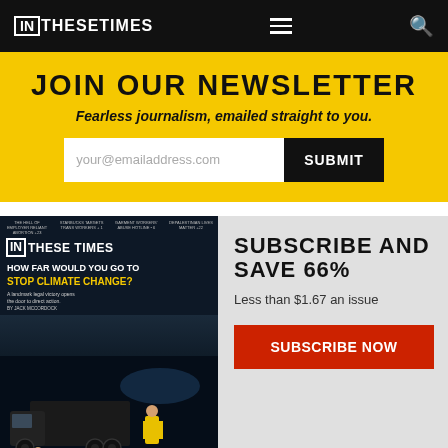IN THESE TIMES
JOIN OUR NEWSLETTER
Fearless journalism, emailed straight to you.
[Figure (screenshot): Email input field with placeholder 'your@emailaddress.com' and a black SUBMIT button]
[Figure (photo): In These Times magazine cover: 'HOW FAR WOULD YOU GO TO STOP CLIMATE CHANGE?' with nighttime truck scene]
SUBSCRIBE AND SAVE 66%
Less than $1.67 an issue
SUBSCRIBE NOW